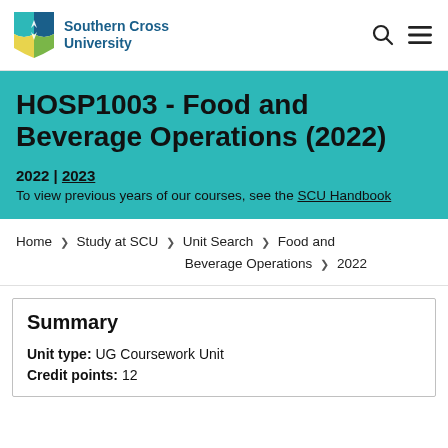Southern Cross University
HOSP1003 - Food and Beverage Operations (2022)
2022 | 2023
To view previous years of our courses, see the SCU Handbook
Home > Study at SCU > Unit Search > Food and Beverage Operations > 2022
Summary
Unit type: UG Coursework Unit
Credit points: 12